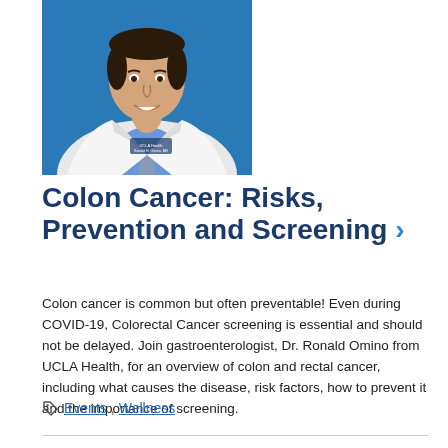[Figure (photo): Professional headshot of Dr. Ronald Omino, MD, wearing a white UCLA Health lab coat over a blue collared shirt and tie, smiling, against a blue background.]
Colon Cancer: Risks, Prevention and Screening ›
Colon cancer is common but often preventable! Even during COVID-19, Colorectal Cancer screening is essential and should not be delayed. Join gastroenterologist, Dr. Ronald Omino from UCLA Health, for an overview of colon and rectal cancer, including what causes the disease, risk factors, how to prevent it and the importance of screening.
Events, Wellness